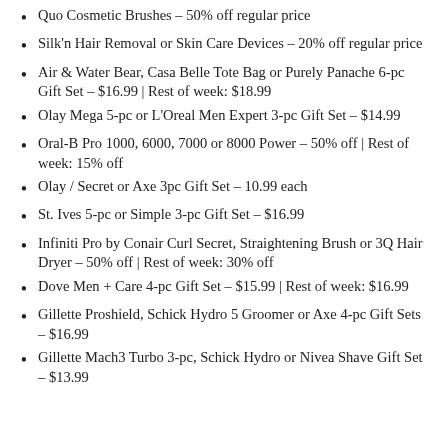Quo Cosmetic Brushes – 50% off regular price
Silk'n Hair Removal or Skin Care Devices – 20% off regular price
Air & Water Bear, Casa Belle Tote Bag or Purely Panache 6-pc Gift Set – $16.99 | Rest of week: $18.99
Olay Mega 5-pc or L'Oreal Men Expert 3-pc Gift Set – $14.99
Oral-B Pro 1000, 6000, 7000 or 8000 Power – 50% off | Rest of week: 15% off
Olay / Secret or Axe 3pc Gift Set – 10.99 each
St. Ives 5-pc or Simple 3-pc Gift Set – $16.99
Infiniti Pro by Conair Curl Secret, Straightening Brush or 3Q Hair Dryer – 50% off | Rest of week: 30% off
Dove Men + Care 4-pc Gift Set – $15.99 | Rest of week: $16.99
Gillette Proshield, Schick Hydro 5 Groomer or Axe 4-pc Gift Sets – $16.99
Gillette Mach3 Turbo 3-pc, Schick Hydro or Nivea Shave Gift Set – $13.99